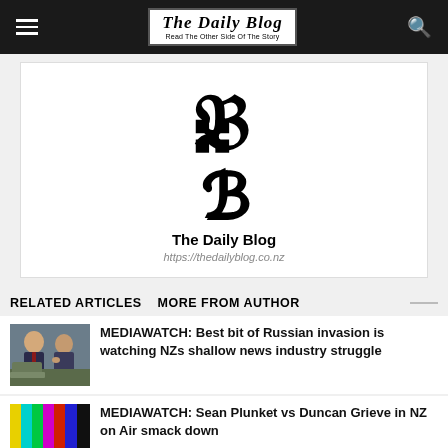The Daily Blog — Read The Other Side Of The Story
[Figure (logo): The Daily Blog blackletter B logo with site name and URL]
The Daily Blog
https://thedailyblog.co.nz
RELATED ARTICLES   MORE FROM AUTHOR
[Figure (photo): Photo of two men in suits, appears to be political figures, Biden and Putin]
MEDIAWATCH: Best bit of Russian invasion is watching NZs shallow news industry struggle
[Figure (illustration): No Signal TV test card image with coloured bars and NO SIGNAL text]
MEDIAWATCH: Sean Plunket vs Duncan Grieve in NZ on Air smack down